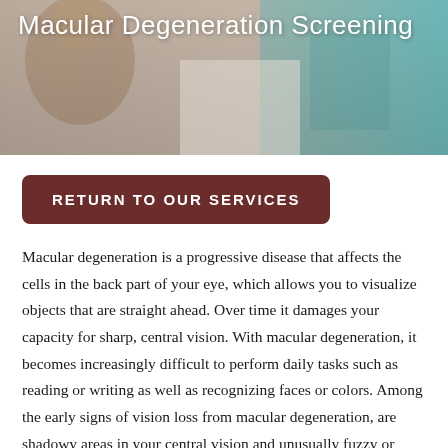[Figure (photo): Medical professional or eye care scene with patient, light blue and beige tones]
Macular Degeneration Screening
RETURN TO OUR SERVICES
Macular degeneration is a progressive disease that affects the cells in the back part of your eye, which allows you to visualize objects that are straight ahead. Over time it damages your capacity for sharp, central vision. With macular degeneration, it becomes increasingly difficult to perform daily tasks such as reading or writing as well as recognizing faces or colors. Among the early signs of vision loss from macular degeneration, are shadowy areas in your central vision and unusually fuzzy or distorted vision. While individuals with advanced cases of macular degeneration are considered legally blind as the